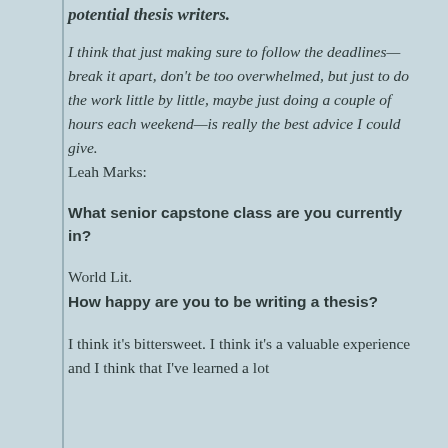potential thesis writers.
I think that just making sure to follow the deadlines—break it apart, don't be too overwhelmed, but just to do the work little by little, maybe just doing a couple of hours each weekend—is really the best advice I could give.
Leah Marks:
What senior capstone class are you currently in?
World Lit.
How happy are you to be writing a thesis?
I think it's bittersweet. I think it's a valuable experience and I think that I've learned a lot